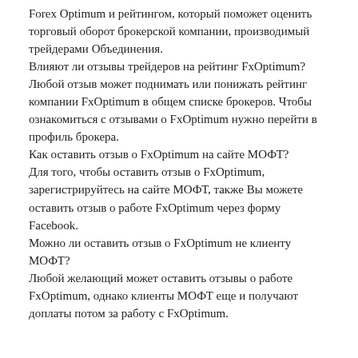Forex Optimum и рейтингом, который поможет оценить торговый оборот брокерской компании, производимый трейдерами Объединения.
Влияют ли отзывы трейдеров на рейтинг FxOptimum?
Любой отзыв может поднимать или понижать рейтинг компании FxOptimum в общем списке брокеров. Чтобы ознакомиться с отзывами о FxOptimum нужно перейти в профиль брокера.
Как оставить отзыв о FxOptimum на сайте МОФТ?
Для того, чтобы оставить отзыв о FxOptimum, зарегистрируйтесь на сайте МОФТ, также Вы можете оставить отзыв о работе FxOptimum через форму Facebook.
Можно ли оставить отзыв о FxOptimum не клиенту МОФТ?
Любой желающий может оставить отзывы о работе FxOptimum, однако клиенты МОФТ еще и получают доплаты потом за работу с FxOptimum.